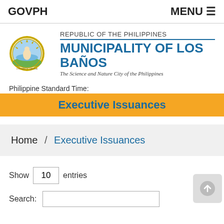GOVPH    MENU ☰
[Figure (logo): Seal of the Municipality of Los Baños, Philippines]
REPUBLIC OF THE PHILIPPINES
MUNICIPALITY OF LOS BAÑOS
The Science and Nature City of the Philippines
Philippine Standard Time:
Executive Issuances
Home  /  Executive Issuances
Show 10 entries
Search: